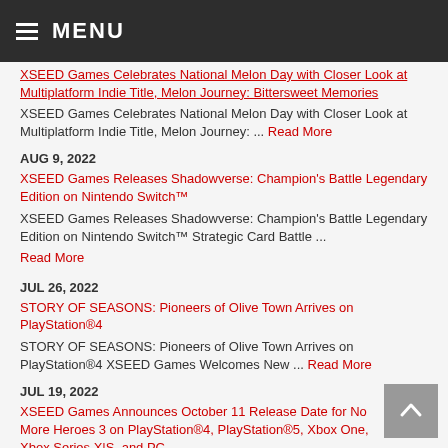MENU
XSEED Games Celebrates National Melon Day with Closer Look at Multiplatform Indie Title, Melon Journey: Bittersweet Memories
XSEED Games Celebrates National Melon Day with Closer Look at Multiplatform Indie Title, Melon Journey: ... Read More
AUG 9, 2022
XSEED Games Releases Shadowverse: Champion's Battle Legendary Edition on Nintendo Switch™
XSEED Games Releases Shadowverse: Champion's Battle Legendary Edition on Nintendo Switch™ Strategic Card Battle ... Read More
JUL 26, 2022
STORY OF SEASONS: Pioneers of Olive Town Arrives on PlayStation®4
STORY OF SEASONS: Pioneers of Olive Town Arrives on PlayStation®4 XSEED Games Welcomes New ... Read More
JUL 19, 2022
XSEED Games Announces October 11 Release Date for No More Heroes 3 on PlayStation®4, PlayStation®5, Xbox One, Xbox Series X|S, and PC